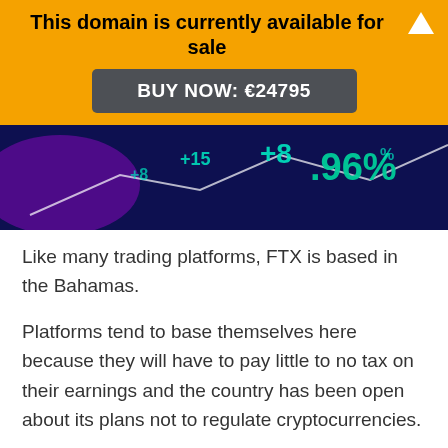This domain is currently available for sale
BUY NOW: €24795
[Figure (photo): Financial trading screen showing stock numbers and percentages including +8.96% in teal/green on a dark blue background with chart lines]
Like many trading platforms, FTX is based in the Bahamas.
Platforms tend to base themselves here because they will have to pay little to no tax on their earnings and the country has been open about its plans not to regulate cryptocurrencies.
It launched in 2019 and is currently valued at